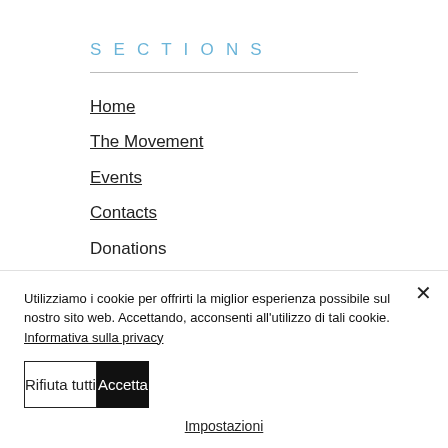SECTIONS
Home
The Movement
Events
Contacts
Donations
ADDRESS
Utilizziamo i cookie per offrirti la miglior esperienza possibile sul nostro sito web. Accettando, acconsenti all'utilizzo di tali cookie. Informativa sulla privacy
Rifiuta tutti
Accetta
Impostazioni